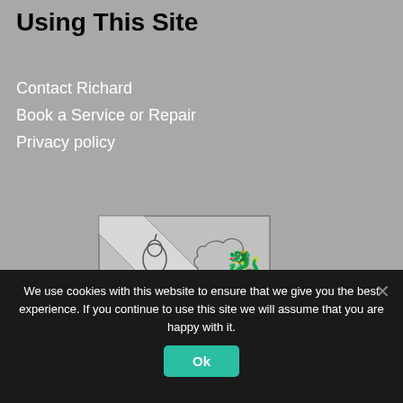Using This Site
Contact Richard
Book a Service or Repair
Privacy policy
[Figure (illustration): A heraldic shield/coat of arms in grayscale featuring a diagonal band (bend) with three pears arranged along it, a Welsh dragon in the upper right quarter, and a gear/cog wheel in the lower left quarter.]
We use cookies with this website to ensure that we give you the best experience. If you continue to use this site we will assume that you are happy with it.